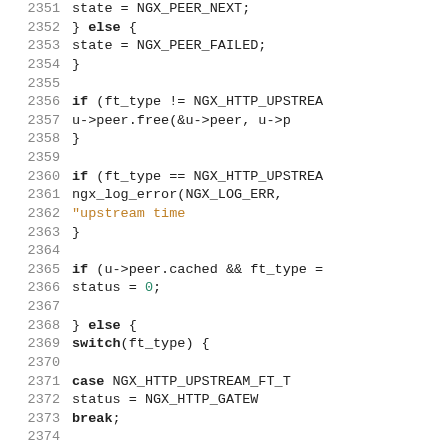Source code listing lines 2351-2380, C code snippet from nginx upstream module